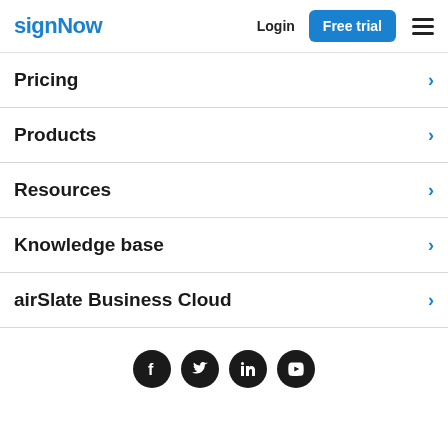signNow | Login | Free trial
Pricing
Products
Resources
Knowledge base
airSlate Business Cloud
[Figure (other): Social media icons: Facebook, Twitter, LinkedIn, YouTube]